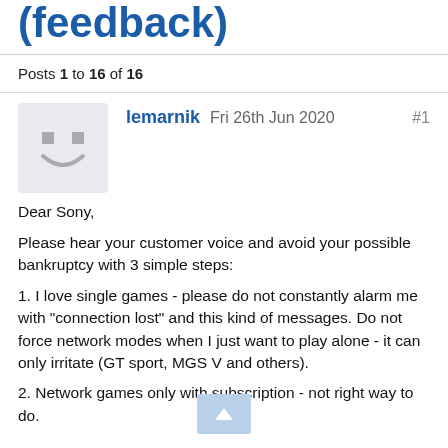(feedback)
Posts 1 to 16 of 16
lemarnik  Fri 26th Jun 2020  #1
Dear Sony,

Please hear your customer voice and avoid your possible bankruptcy with 3 simple steps:
1. I love single games - please do not constantly alarm me with "connection lost" and this kind of messages. Do not force network modes when I just want to play alone - it can only irritate (GT sport, MGS V and others).
2. Network games only with subscription - not right way to do.